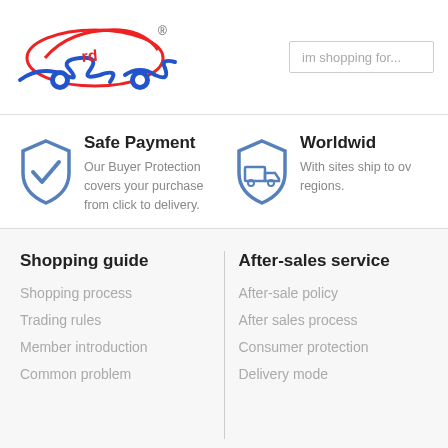[Figure (logo): Car parts e-commerce logo with stylized car and snake graphic in red and blue]
im shopping for...
Safe Payment
Our Buyer Protection covers your purchase from click to delivery.
[Figure (illustration): Blue shield icon with truck/delivery vehicle]
Worldwid
With sites ship to ov regions.
Shopping guide
Shopping process
Trading rules
Member introduction
Common problem
After-sales service
After-sale policy
After sales process
Consumer protection
Delivery mode